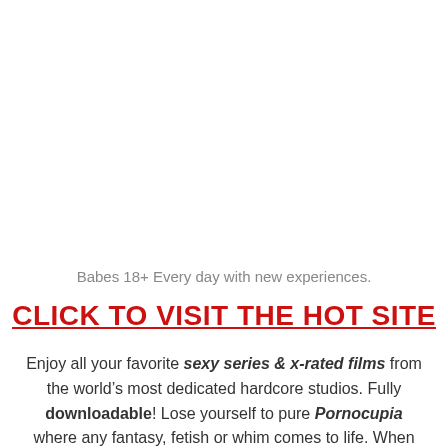Babes 18+ Every day with new experiences.
CLICK TO VISIT THE HOT SITE
Enjoy all your favorite sexy series & x-rated films from the world’s most dedicated hardcore studios. Fully downloadable! Lose yourself to pure Pornocupia where any fantasy, fetish or whim comes to life. When you get